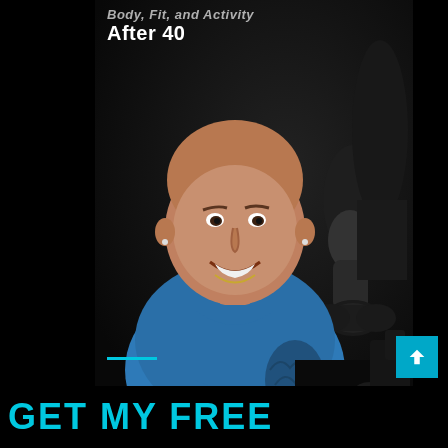After 40
[Figure (photo): Book cover or website screenshot showing a bald smiling man in a blue t-shirt (Blaine Podaima, CSCS) against a dark background, with a fitness person holding a dumbbell visible on the right, and gym equipment at the bottom right.]
BLAINE PODAIMA, CSCS
GET MY FREE